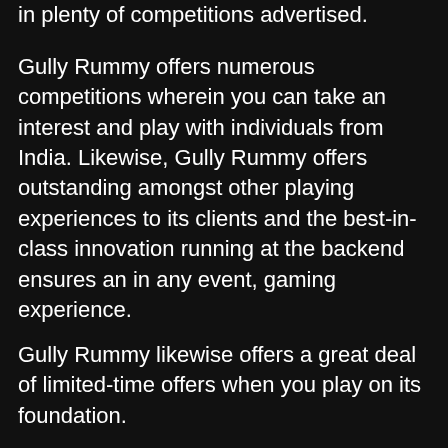in plenty of competitions advertised.
Gully Rummy offers numerous competitions wherein you can take an interest and play with individuals from India. Likewise, Gully Rummy offers outstanding amongst other playing experiences to its clients and the best-in-class innovation running at the backend ensures an in any event, gaming experience.
Gully Rummy likewise offers a great deal of limited-time offers when you play on its foundation.